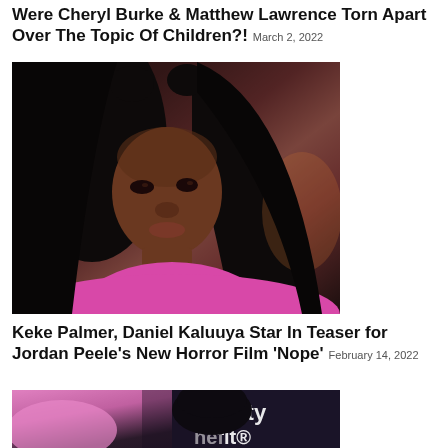Were Cheryl Burke & Matthew Lawrence Torn Apart Over The Topic Of Children?! March 2, 2022
[Figure (photo): Portrait photo of Keke Palmer with long straight black hair and pink outfit]
Keke Palmer, Daniel Kaluuya Star In Teaser for Jordan Peele's New Horror Film 'Nope' February 14, 2022
[Figure (photo): Photo of a person at an event with 'security benefit' text visible in background]